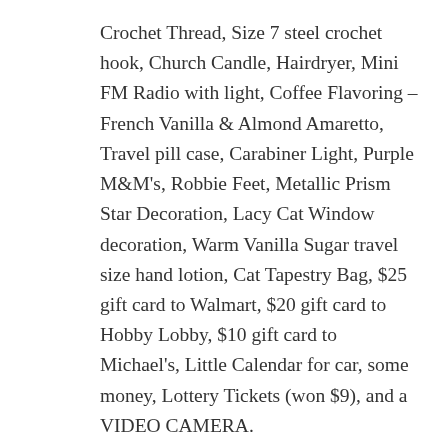Crochet Thread, Size 7 steel crochet hook, Church Candle, Hairdryer, Mini FM Radio with light, Coffee Flavoring – French Vanilla & Almond Amaretto, Travel pill case, Carabiner Light, Purple M&M's, Robbie Feet, Metallic Prism Star Decoration, Lacy Cat Window decoration, Warm Vanilla Sugar travel size hand lotion, Cat Tapestry Bag, $25 gift card to Walmart, $20 gift card to Hobby Lobby, $10 gift card to Michael's, Little Calendar for car, some money, Lottery Tickets (won $9), and a VIDEO CAMERA.
Everything is all packed up and ready to head back to GA with us when we leave on Wednesday.
This afternoon we all went outside and played in the snow and took turns pulling Robbie around in his new